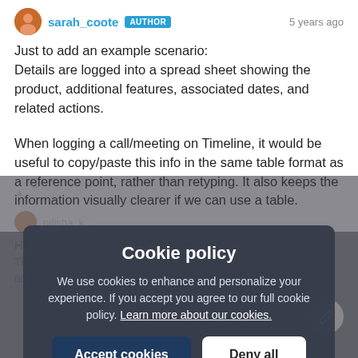sarah_coote AUTHOR | 5 years ago
Just to add an example scenario:
Details are logged into a spread sheet showing the product, additional features, associated dates, and related actions.
When logging a call/meeting on Timeline, it would be useful to copy/paste this info in the same table format as a reference point, rather than retyping. It also keeps the information visually clearer if we can use a table.
Cookie policy
We use cookies to enhance and personalize your experience. If you accept you agree to our full cookie policy. Learn more about our cookies.
Accept cookies | Deny all
Cookie settings
Hi Sarah,
Thanks for the post. We will look into the possibilities adding this feature and will you updated about the status